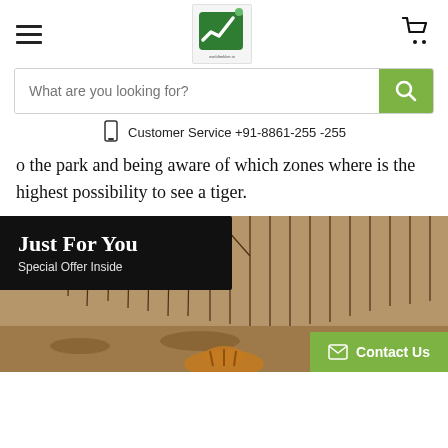Header with hamburger menu, logo, and cart icon
[Figure (logo): Green finance/investment logo with arrow and dot on white/gray background]
What are you looking for?
Customer Service +91-8861-255 -255
[Figure (infographic): Black popup overlay with bold white text 'Just For You' and subtext 'Special Offer Inside']
o the park and being aware of which zones where is the highest possibility to see a tiger.
[Figure (photo): Photograph of a forest with bare dry trees and a tiger partially visible at the bottom, in natural brown tones]
Contact Us